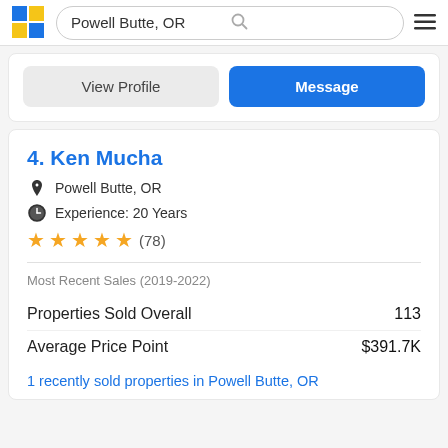Powell Butte, OR
View Profile | Message
4. Ken Mucha
Powell Butte, OR
Experience: 20 Years
★★★★★ (78)
Most Recent Sales (2019-2022)
|  |  |
| --- | --- |
| Properties Sold Overall | 113 |
| Average Price Point | $391.7K |
1 recently sold properties in Powell Butte, OR